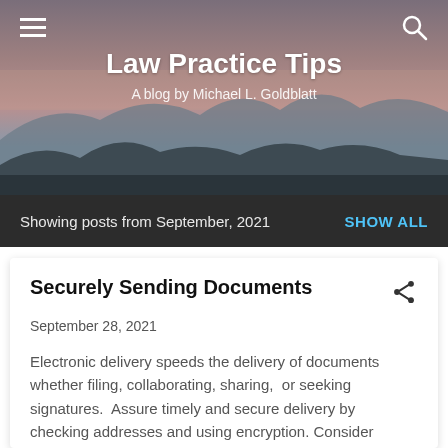[Figure (photo): Header background image showing a mountain landscape at dusk with purple-pink sky and dark silhouetted mountains, overlaid with blog title and navigation icons]
Law Practice Tips
A blog by Michael L. Goldblatt
Showing posts from September, 2021   SHOW ALL
Securely Sending Documents
September 28, 2021
Electronic delivery speeds the delivery of documents whether filing, collaborating, sharing,  or seeking signatures.  Assure timely and secure delivery by checking addresses and using encryption. Consider alternatives that work best for you, your clients, and co-counsel. Conside…